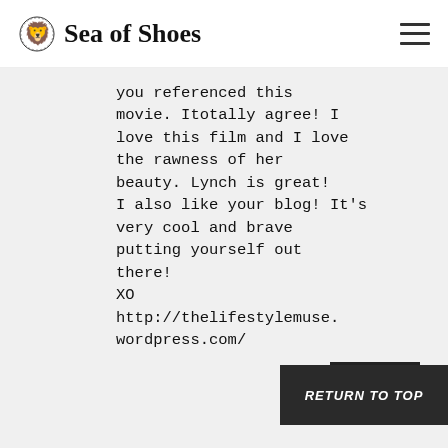Sea of Shoes
you referenced this movie. Itotally agree! I love this film and I love the rawness of her beauty. Lynch is great! I also like your blog! It's very cool and brave putting yourself out there!
XO
http://thelifestylemuse.wordpress.com/
REPLY
LINNEA
MARCH 5, 2009 AT 6:06 PM
RETURN TO TOP